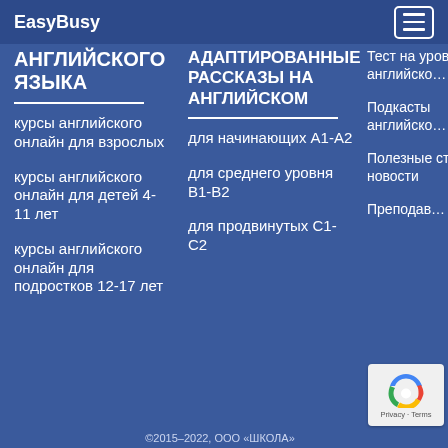EasyBusy
АНГЛИЙСКОГО ЯЗЫКА
курсы английского онлайн для взрослых
курсы английского онлайн для детей 4-11 лет
курсы английского онлайн для подростков 12-17 лет
АДАПТИРОВАННЫЕ РАССКАЗЫ НА АНГЛИЙСКОМ
для начинающих А1-А2
для среднего уровня В1-В2
для продвинутых С1-С2
Тест на уровень английско…
Подкасты английско… языке
Полезные статьи и новости
Преподав…
©2015–2022, ООО «ШКОЛА»